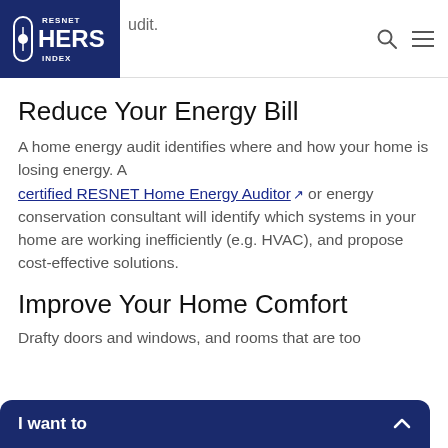RESNET HERS INDEX [logo] audit. [search icon] [menu icon]
Reduce Your Energy Bill
A home energy audit identifies where and how your home is losing energy. A certified RESNET Home Energy Auditor or energy conservation consultant will identify which systems in your home are working inefficiently (e.g. HVAC), and propose cost-effective solutions.
Improve Your Home Comfort
Drafty doors and windows, and rooms that are too
I want to ^